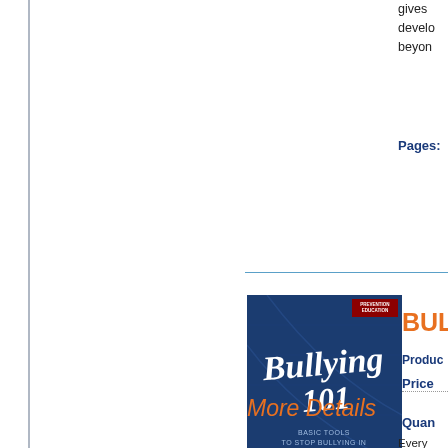gives develo beyon
Pages:
[Figure (photo): Book cover for 'Bullying 101: Basic Tools to Stop Bullying in Middle School' - dark blue cover with script title, part of a Prevention Library series]
More Details
BUL
Product
Price
Quan
Every Middle emoti unique experi life iss What Includ desig mater
Runti